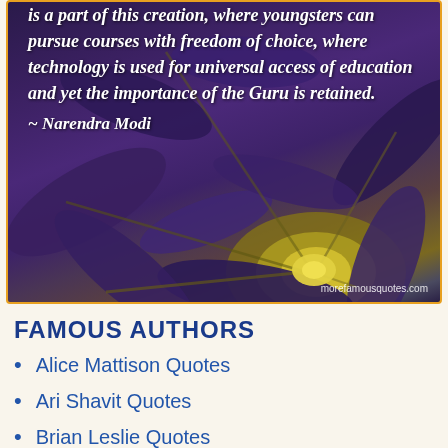[Figure (photo): A dark purple flower (close-up of petals with yellow center) with overlaid italic white text quote by Narendra Modi about education and the importance of the Guru. Watermark 'morefamousquotes.com' in bottom right.]
FAMOUS AUTHORS
Alice Mattison Quotes
Ari Shavit Quotes
Brian Leslie Quotes